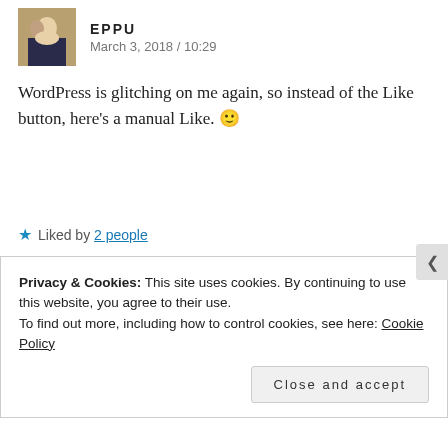EPPU — March 3, 2018 / 10:29
WordPress is glitching on me again, so instead of the Like button, here’s a manual Like. 🙂
★ Liked by 2 people
ALUNARIA — March 3, 2018 / 12:57
Privacy & Cookies: This site uses cookies. By continuing to use this website, you agree to their use. To find out more, including how to control cookies, see here: Cookie Policy
Close and accept